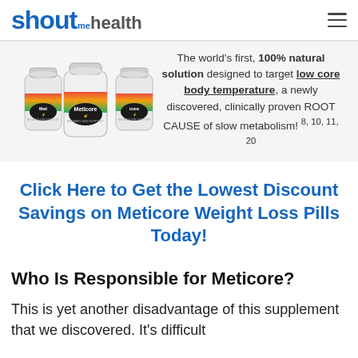shout me health
[Figure (photo): Three Meticore supplement bottles arranged together against a light background]
The world's first, 100% natural solution designed to target low core body temperature, a newly discovered, clinically proven ROOT CAUSE of slow metabolism! 8, 10, 11, 20
Click Here to Get the Lowest Discount Savings on Meticore Weight Loss Pills Today!
Who Is Responsible for Meticore?
This is yet another disadvantage of this supplement that we discovered. It's difficult to come across information regarding...